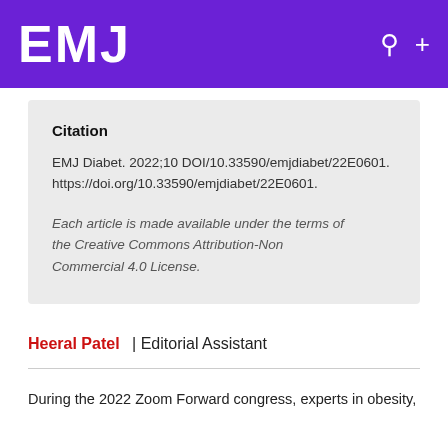EMJ
Citation
EMJ Diabet. 2022;10 DOI/10.33590/emjdiabet/22E0601. https://doi.org/10.33590/emjdiabet/22E0601.
Each article is made available under the terms of the Creative Commons Attribution-Non Commercial 4.0 License.
Heeral Patel | Editorial Assistant
During the 2022 Zoom Forward congress, experts in obesity,